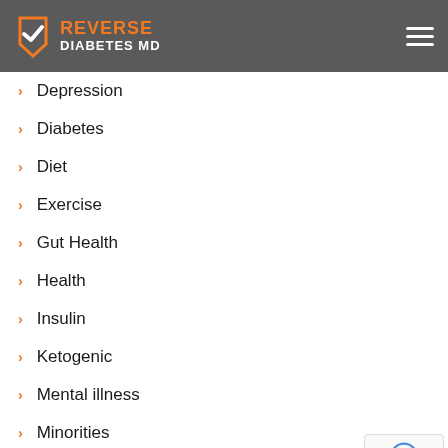REVERSE DIABETES MD
Depression
Diabetes
Diet
Exercise
Gut Health
Health
Insulin
Ketogenic
Mental illness
Minorities
News